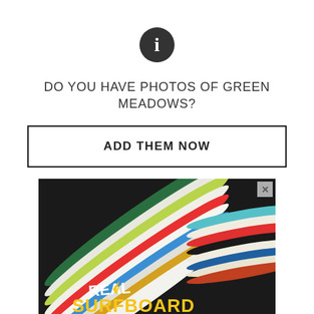[Figure (illustration): Black circular info icon with white letter i]
DO YOU HAVE PHOTOS OF GREEN MEADOWS?
ADD THEM NOW
[Figure (photo): Advertisement showing colorful stacked surfboards with text REAL SURFBOARD at the bottom in yellow and white letters]